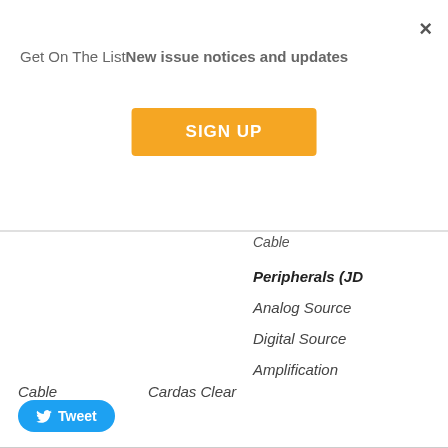Get On The ListNew issue notices and updates
SIGN UP
Cable
Peripherals (JD
Analog Source
Digital Source
Amplification
Cable
Cardas Clear
Tweet